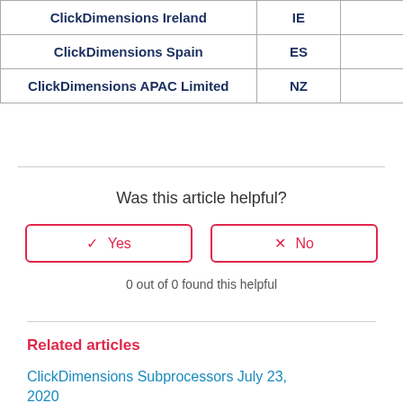|  |  |  |
| --- | --- | --- |
| ClickDimensions Ireland | IE |  |
| ClickDimensions Spain | ES |  |
| ClickDimensions APAC Limited | NZ |  |
Was this article helpful?
✓ Yes   ✗ No
0 out of 0 found this helpful
Related articles
ClickDimensions Subprocessors July 23, 2020
ClickDimensions Subprocessors March 29,